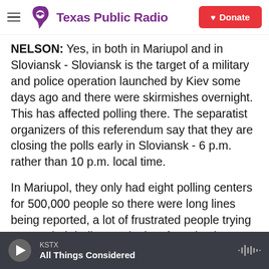Texas Public Radio | Donate
NELSON: Yes, in both in Mariupol and in Sloviansk - Sloviansk is the target of a military and police operation launched by Kiev some days ago and there were skirmishes overnight. This has affected polling there. The separatist organizers of this referendum say that they are closing the polls early in Sloviansk - 6 p.m. rather than 10 p.m. local time.
In Mariupol, they only had eight polling centers for 500,000 people so there were long lines being reported, a lot of frustrated people trying to cast their ballots and a lot of tension just because this violence has sort of been sporadic. So everyone's
KSTX | All Things Considered